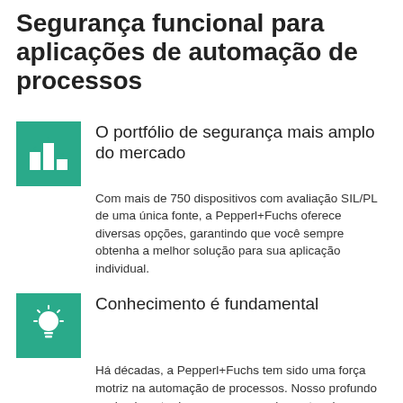Segurança funcional para aplicações de automação de processos
O portfólio de segurança mais amplo do mercado
Com mais de 750 dispositivos com avaliação SIL/PL de uma única fonte, a Pepperl+Fuchs oferece diversas opções, garantindo que você sempre obtenha a melhor solução para sua aplicação individual.
Conhecimento é fundamental
Há décadas, a Pepperl+Fuchs tem sido uma força motriz na automação de processos. Nosso profundo conhecimento das normas e regulamentos de segurança funcional é a base para componentes de segurança confiáveis.